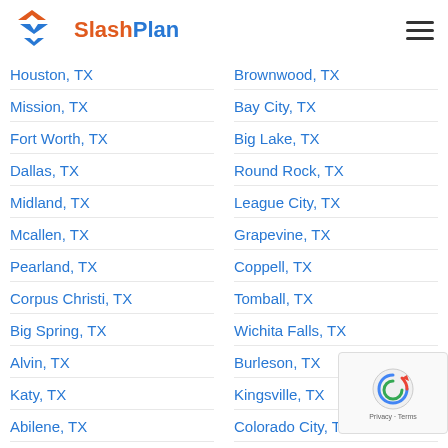[Figure (logo): SlashPlan logo with orange and blue icon and text]
Houston, TX
Mission, TX
Fort Worth, TX
Dallas, TX
Midland, TX
Mcallen, TX
Pearland, TX
Corpus Christi, TX
Big Spring, TX
Alvin, TX
Katy, TX
Abilene, TX
Brownwood, TX
Bay City, TX
Big Lake, TX
Round Rock, TX
League City, TX
Grapevine, TX
Coppell, TX
Tomball, TX
Wichita Falls, TX
Burleson, TX
Kingsville, TX
Colorado City, TX
Euless, TX